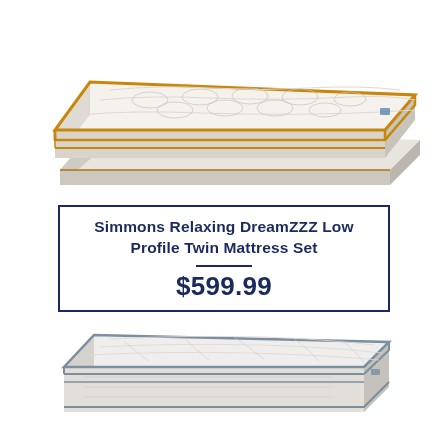[Figure (photo): Simmons Relaxing DreamZZZ pillow-top mattress set with gold/amber trim piping, white fabric, shown at an angle from above, with box spring]
Simmons Relaxing DreamZZZ Low Profile Twin Mattress Set
$599.99
[Figure (photo): Flat low-profile twin mattress with grey/blue trim piping and white fabric, shown at an angle]